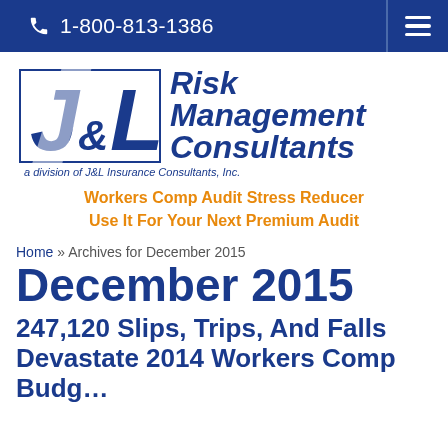1-800-813-1386
[Figure (logo): J&L Risk Management Consultants logo — stylized J&L monogram in blue with 'Risk Management Consultants' text, a division of J&L Insurance Consultants, Inc.]
Workers Comp Audit Stress Reducer
Use It For Your Next Premium Audit
Home » Archives for December 2015
December 2015
247,120 Slips, Trips, And Falls Devastate 2014 Workers Comp Budgets